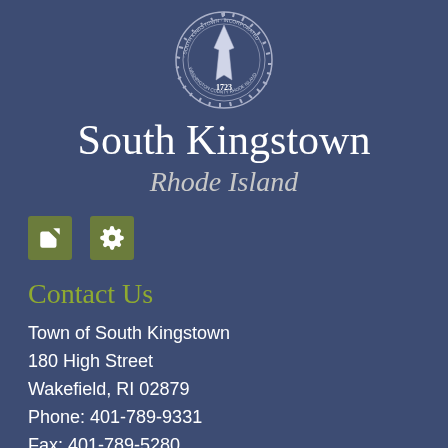[Figure (logo): South Kingstown Rhode Island official town seal - circular seal with arrowhead/spearhead in center, text 'SOUTH KINGSTOWN INCORPORATED 1723 WASHINGTON COUNTY RHODE ISLAND' around the border, gear-tooth outer ring]
South Kingstown
Rhode Island
[Figure (other): Two green square icon buttons: a share/export icon and a settings/gear icon]
Contact Us
Town of South Kingstown
180 High Street
Wakefield, RI 02879
Phone: 401-789-9331
Fax: 401-789-5280
Email us
Hours of Operation